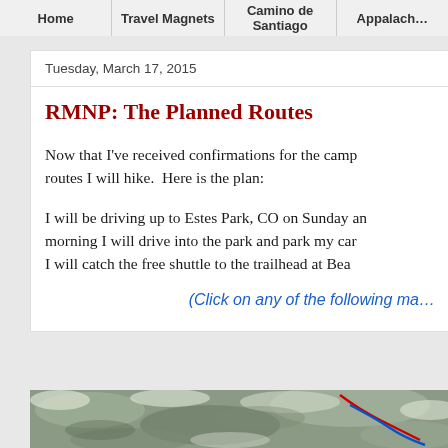Home | Travel Magnets | Camino de Santiago | Appalach…
Tuesday, March 17, 2015
RMNP: The Planned Routes
Now that I've received confirmations for the camp… routes I will hike.  Here is the plan:
I will be driving up to Estes Park, CO on Sunday an… morning I will drive into the park and park my car… I will catch the free shuttle to the trailhead at Bea…
(Click on any of the following ma…
[Figure (map): Aerial/satellite map showing trail routes with red and blue lines overlaid on snowy terrain]